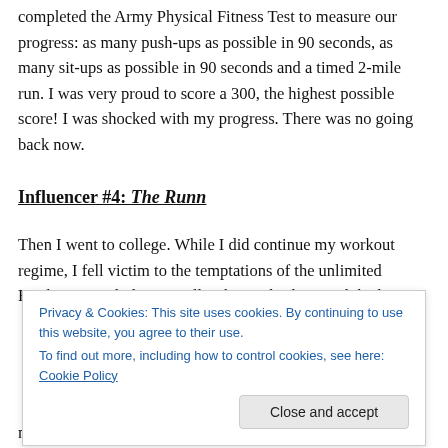completed the Army Physical Fitness Test to measure our progress: as many push-ups as possible in 90 seconds, as many sit-ups as possible in 90 seconds and a timed 2-mile run. I was very proud to score a 300, the highest possible score! I was shocked with my progress. There was no going back now.
Influencer #4: The Runn
Then I went to college. While I did continue my workout regime, I fell victim to the temptations of the unlimited Freshman meal plan as well as binge drinking and the late
Privacy & Cookies: This site uses cookies. By continuing to use this website, you agree to their use.
To find out more, including how to control cookies, see here: Cookie Policy
Close and accept
my normal fit size by the time I returned sophomore year,